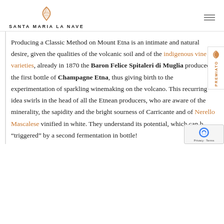Santa Maria la Nave
Producing a Classic Method on Mount Etna is an intimate and natural desire, given the qualities of the volcanic soil and of the indigenous vine varieties, already in 1870 the Baron Felice Spitaleri di Muglia produced the first bottle of Champagne Etna, thus giving birth to the experimentation of sparkling winemaking on the volcano. This recurring idea swirls in the head of all the Etnean producers, who are aware of the minerality, the sapidity and the bright sourness of Carricante and of Nerello Mascalese vinified in white. They understand its potential, which can be “triggered” by a second fermentation in bottle!